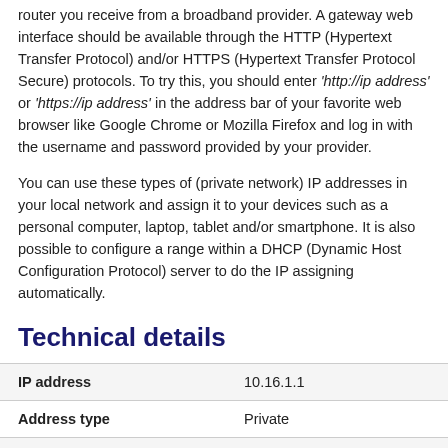router you receive from a broadband provider. A gateway web interface should be available through the HTTP (Hypertext Transfer Protocol) and/or HTTPS (Hypertext Transfer Protocol Secure) protocols. To try this, you should enter 'http://ip address' or 'https://ip address' in the address bar of your favorite web browser like Google Chrome or Mozilla Firefox and log in with the username and password provided by your provider.
You can use these types of (private network) IP addresses in your local network and assign it to your devices such as a personal computer, laptop, tablet and/or smartphone. It is also possible to configure a range within a DHCP (Dynamic Host Configuration Protocol) server to do the IP assigning automatically.
Technical details
|  |  |
| --- | --- |
| IP address | 10.16.1.1 |
| Address type | Private |
| Protocol version | IPv4 |
| Network class | Class A |